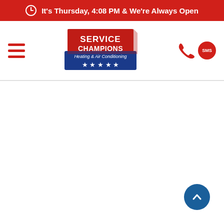It's Thursday, 4:08 PM & We're Always Open
[Figure (logo): Service Champions Heating & Air Conditioning logo with red top, blue bottom with stars, and hamburger menu icon on left, phone and SMS icons on right]
[Figure (other): Scroll-to-top button (blue circle with white upward chevron) in bottom-right corner]